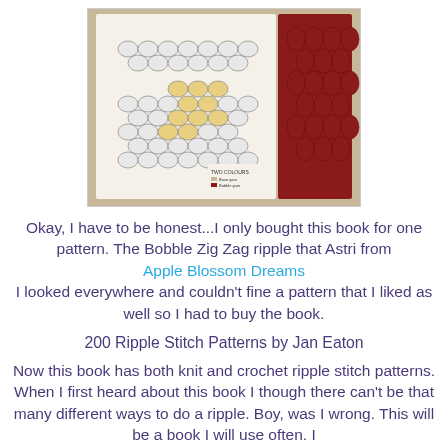[Figure (photo): Photo of an open book showing crochet/knit pattern diagrams with bobble zig zag ripple stitch patterns. The book page shows schematic diagrams of the stitch patterns, some highlighted in yellow, with a red crocheted sample visible on the right side of the book.]
Okay, I have to be honest...I only bought this book for one pattern. The Bobble Zig Zag ripple that Astri from Apple Blossom Dreams I looked everywhere and couldn't fine a pattern that I liked as well so I had to buy the book.
200 Ripple Stitch Patterns by Jan Eaton
Now this book has both knit and crochet ripple stitch patterns. When I first heard about this book I though there can't be that many different ways to do a ripple. Boy, was I wrong. This will be a book I will use often. I